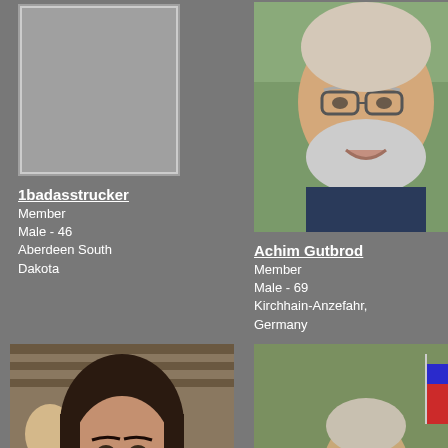[Figure (photo): Placeholder gray rectangle image for 1badasstrucker profile]
1badasstrucker
Member
Male - 46
Aberdeen South Dakota
[Figure (photo): Photo of Achim Gutbrod, older man with white beard and glasses]
Achim Gutbrod
Member
Male - 69
Kirchhain-Anzefahr, Germany
[Figure (photo): Photo of Andrea, young woman with dark hair in striped shirt]
Andrea
Member
Male - 35
USA, New York
[Figure (photo): Photo of Army Vet, older man on motorcycle wearing sunglasses and vest]
Army Vet
Member
Male - 73
Myrtle Beach, SC